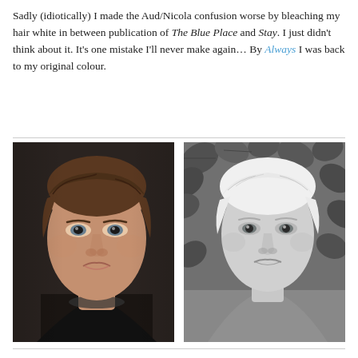Sadly (idiotically) I made the Aud/Nicola confusion worse by bleaching my hair white in between publication of The Blue Place and Stay. I just didn't think about it. It's one mistake I'll never make again… By Always I was back to my original colour.
[Figure (photo): Two side-by-side portrait photos of the same woman. Left: color photo showing woman with short brown hair against dark background. Right: black and white photo showing the same woman with short bleached white hair against leafy background.]